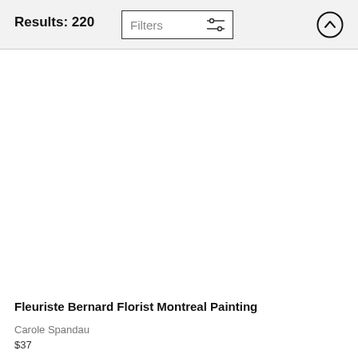Results: 220
[Figure (screenshot): Filters button with sliders icon and scroll-to-top arrow button in a circle]
[Figure (photo): Product image area — white/blank image placeholder for Fleuriste Bernard Florist Montreal Painting]
Fleuriste Bernard Florist Montreal Painting
Carole Spandau
$37